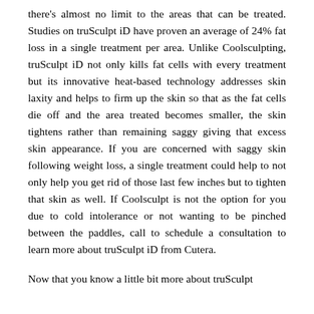there's almost no limit to the areas that can be treated. Studies on truSculpt iD have proven an average of 24% fat loss in a single treatment per area. Unlike Coolsculpting, truSculpt iD not only kills fat cells with every treatment but its innovative heat-based technology addresses skin laxity and helps to firm up the skin so that as the fat cells die off and the area treated becomes smaller, the skin tightens rather than remaining saggy giving that excess skin appearance. If you are concerned with saggy skin following weight loss, a single treatment could help to not only help you get rid of those last few inches but to tighten that skin as well. If Coolsculpt is not the option for you due to cold intolerance or not wanting to be pinched between the paddles, call to schedule a consultation to learn more about truSculpt iD from Cutera.
Now that you know a little bit more about truSculpt